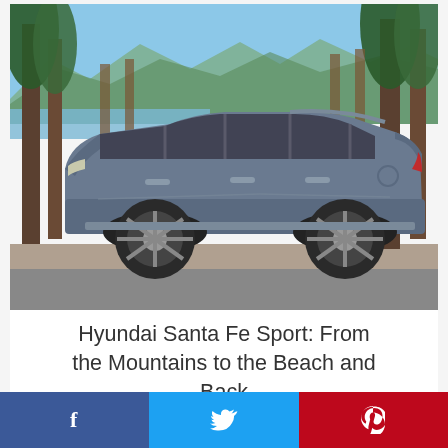[Figure (photo): Side profile of a blue-gray Hyundai Santa Fe Sport SUV parked outdoors with tall pine trees and mountains in the background under a clear blue sky]
Hyundai Santa Fe Sport: From the Mountains to the Beach and Back